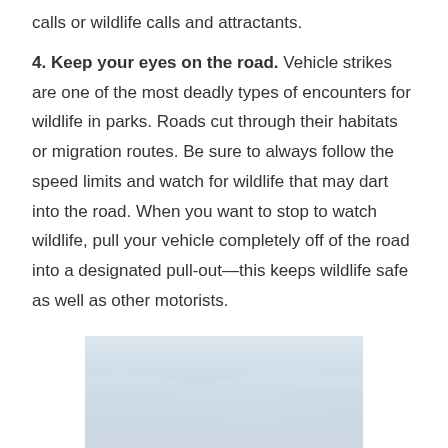calls or wildlife calls and attractants.
4. Keep your eyes on the road. Vehicle strikes are one of the most deadly types of encounters for wildlife in parks. Roads cut through their habitats or migration routes. Be sure to always follow the speed limits and watch for wildlife that may dart into the road. When you want to stop to watch wildlife, pull your vehicle completely off of the road into a designated pull-out—this keeps wildlife safe as well as other motorists.
[Figure (photo): A light blue-grey sky or snowy landscape photo, partially visible at the bottom of the page.]